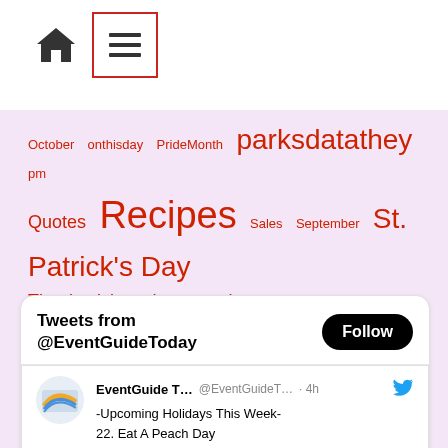[Figure (other): Navigation bar with home icon and hamburger menu icon in red border box]
October  onthisday  PrideMonth  parksdatathey pm  Quotes  Recipes  Sales  September  St. Patrick's Day  Thanksgiving  theme parks  Valentine's Day  Valentine's Day Coloring  Valentine's Day Crafts  Valentine's Day History  White House
Tweets from @EventGuideToday
-Upcoming Holidays This Week-
22. Eat A Peach Day
23. Slavery Remembrance Day
24. Waffle Day
25. Banana Split Day